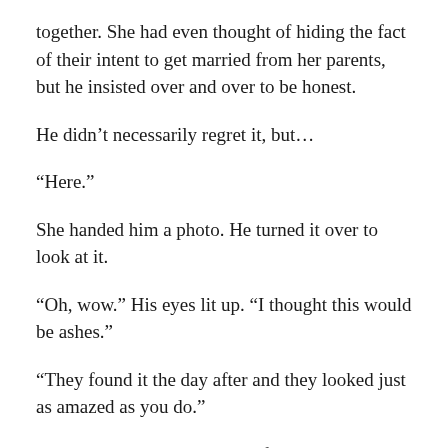together. She had even thought of hiding the fact of their intent to get married from her parents, but he insisted over and over to be honest.
He didn’t necessarily regret it, but…
“Here.”
She handed him a photo. He turned it over to look at it.
“Oh, wow.” His eyes lit up. “I thought this would be ashes.”
“They found it the day after and they looked just as amazed as you do.”
He looked at her white dress, flowing on her body like ocean waves in the summertime. Her brunette hair matching her brown eyes; the eyes he so loved looking into.